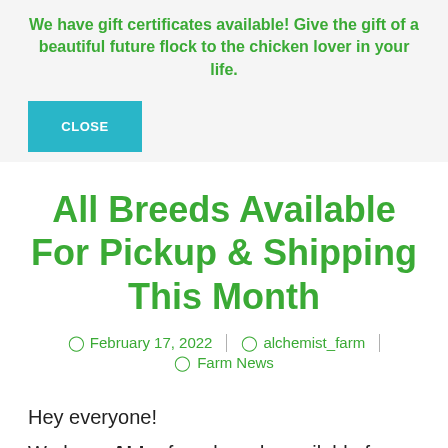We have gift certificates available! Give the gift of a beautiful future flock to the chicken lover in your life.
[Figure (other): Teal/cyan CLOSE button]
All Breeds Available For Pickup & Shipping This Month
February 17, 2022 | alchemist_farm | Farm News
Hey everyone!
We have ALL of our breeds available for